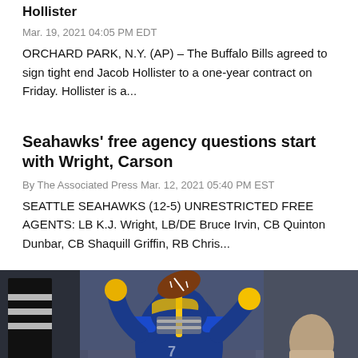Hollister
Mar. 19, 2021 04:05 PM EDT
ORCHARD PARK, N.Y. (AP) – The Buffalo Bills agreed to sign tight end Jacob Hollister to a one-year contract on Friday. Hollister is a...
Seahawks' free agency questions start with Wright, Carson
By The Associated Press Mar. 12, 2021 05:40 PM EST
SEATTLE SEAHAWKS (12-5) UNRESTRICTED FREE AGENTS: LB K.J. Wright, LB/DE Bruce Irvin, CB Quinton Dunbar, CB Shaquill Griffin, RB Chris...
[Figure (photo): Football player in LA Rams blue and yellow uniform catching a football, with referee and sideline figures in the background]